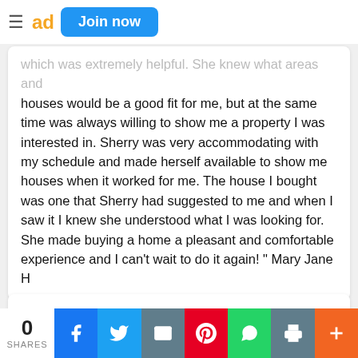[Figure (screenshot): Navigation bar with hamburger menu, logo letters 'ad', and 'Join now' blue button]
which was extremely helpful. She knew what areas and houses would be a good fit for me, but at the same time was always willing to show me a property I was interested in. Sherry was very accommodating with my schedule and made herself available to show me houses when it worked for me. The house I bought was one that Sherry had suggested to me and when I saw it I knew she understood what I was looking for. She made buying a home a pleasant and comfortable experience and I can't wait to do it again! " Mary Jane H
[Figure (illustration): Large gray closing double quotation mark on white card background]
0 SHARES | Facebook | Twitter | Email | Pinterest | WhatsApp | Print | Plus